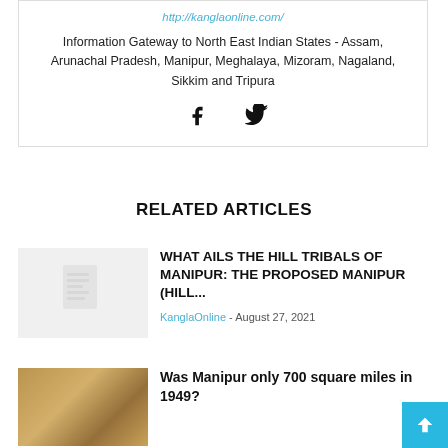http://kanglaonline.com/
Information Gateway to North East Indian States - Assam, Arunachal Pradesh, Manipur, Meghalaya, Mizoram, Nagaland, Sikkim and Tripura
[Figure (illustration): Facebook and Twitter social media icons]
RELATED ARTICLES
[Figure (illustration): Placeholder document thumbnail image]
WHAT AILS THE HILL TRIBALS OF MANIPUR: THE PROPOSED MANIPUR (HILL...
KanglaOnline - August 27, 2021
[Figure (illustration): Historical map image thumbnail]
Was Manipur only 700 square miles in 1949?